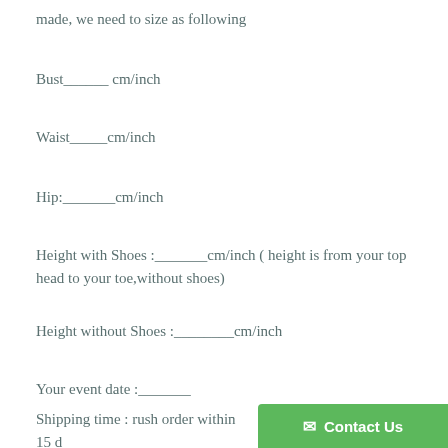made, we need to size as following
Bust______ cm/inch
Waist_____cm/inch
Hip:_______cm/inch
Height with Shoes :_______cm/inch ( height is from your top head to your toe,without shoes)
Height without Shoes :________cm/inch
Your event date :_______
Shipping time : rush order within 15 d